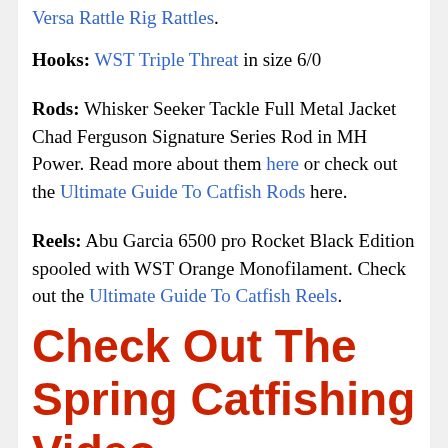Versa Rattle Rig Rattles.
Hooks: WST Triple Threat in size 6/0
Rods: Whisker Seeker Tackle Full Metal Jacket Chad Ferguson Signature Series Rod in MH Power. Read more about them here or check out the Ultimate Guide To Catfish Rods here.
Reels: Abu Garcia 6500 pro Rocket Black Edition spooled with WST Orange Monofilament. Check out the Ultimate Guide To Catfish Reels.
Check Out The Spring Catfishing Video